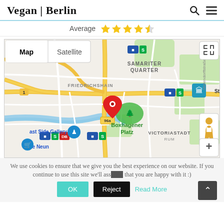Vegan | Berlin
Average ★★★★☆
[Figure (map): Google Maps view of Friedrichshain/Boxhagener Platz area in Berlin, with a red location pin marker. Map shows Samariter Quarter, Friedrichshain, Victoriastadt labels. Map/Satellite toggle buttons visible. Street map with yellow roads, blue river, green parks.]
We use cookies to ensure that we give you the best experience on our website. If you continue to use this site we'll assume that you are happy with it :)
OK  Reject  Read More